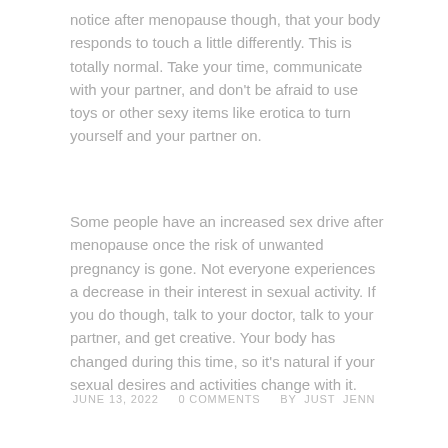notice after menopause though, that your body responds to touch a little differently. This is totally normal. Take your time, communicate with your partner, and don't be afraid to use toys or other sexy items like erotica to turn yourself and your partner on.
Some people have an increased sex drive after menopause once the risk of unwanted pregnancy is gone. Not everyone experiences a decrease in their interest in sexual activity. If you do though, talk to your doctor, talk to your partner, and get creative. Your body has changed during this time, so it's natural if your sexual desires and activities change with it.
JUNE 13, 2022     0 COMMENTS     BY  JUST  JENN